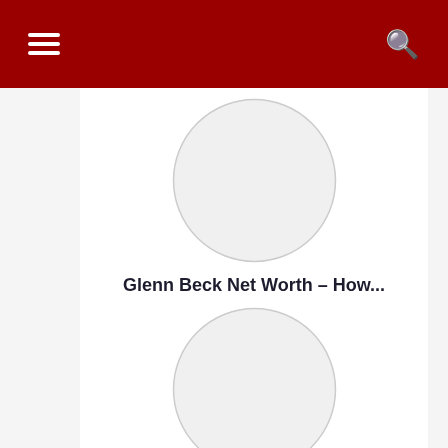☰  🔍
[Figure (illustration): Circular placeholder image for Glenn Beck]
Glenn Beck Net Worth – How...
[Figure (illustration): Circular placeholder image for Chris Appleton]
Chris Appleton Net Worth &...